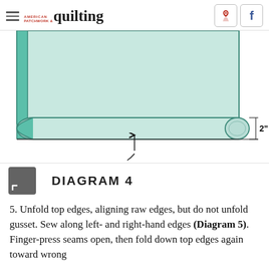AMERICAN PATCHWORK & quilting
[Figure (illustration): Diagram 4: A quilting illustration showing a rolled/folded gusset at the bottom of a light mint-green fabric panel. The gusset appears as a rolled cylinder shape at the bottom, with a 2" measurement callout on the right side. A small arrow points to the center of the gusset roll.]
DIAGRAM 4
5. Unfold top edges, aligning raw edges, but do not unfold gusset. Sew along left- and right-hand edges (Diagram 5). Finger-press seams open, then fold down top edges again toward wrong